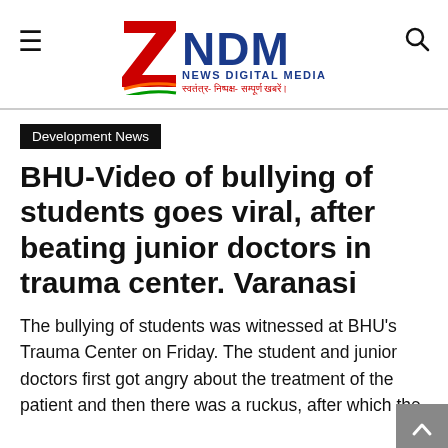ZNDM News Digital Media
Development News
BHU-Video of bullying of students goes viral, after beating junior doctors in trauma center. Varanasi
The bullying of students was witnessed at BHU's Trauma Center on Friday. The student and junior doctors first got angry about the treatment of the patient and then there was a ruckus, after which the students were able to the junior doctors but the...